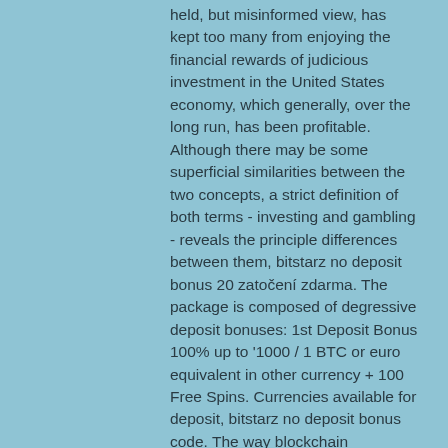held, but misinformed view, has kept too many from enjoying the financial rewards of judicious investment in the United States economy, which generally, over the long run, has been profitable. Although there may be some superficial similarities between the two concepts, a strict definition of both terms - investing and gambling - reveals the principle differences between them, bitstarz no deposit bonus 20 zatočení zdarma. The package is composed of degressive deposit bonuses: 1st Deposit Bonus 100% up to '1000 / 1 BTC or euro equivalent in other currency + 100 Free Spins. Currencies available for deposit, bitstarz no deposit bonus code. The way blockchain functions, users don't have to provide names or other personal information, bitstarz no deposit bonus code 2022. When funding your Bitcoin gambling account or cashing out, you only have to provide the wallet address. People cannot affect casino gaming in the same way